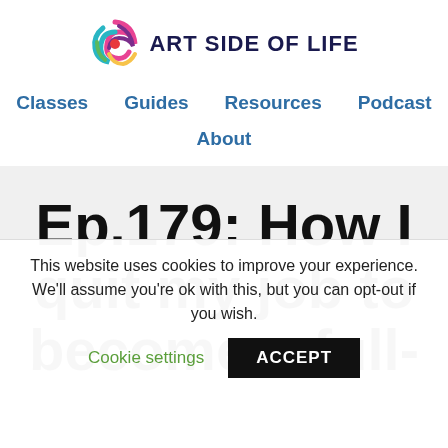[Figure (logo): Art Side of Life logo — colorful swirl icon with dark navy bold text 'ART SIDE OF LIFE']
Classes   Guides   Resources   Podcast   About
Ep.179: How I quit my job to become a full-
This website uses cookies to improve your experience. We'll assume you're ok with this, but you can opt-out if you wish.
Cookie settings   ACCEPT